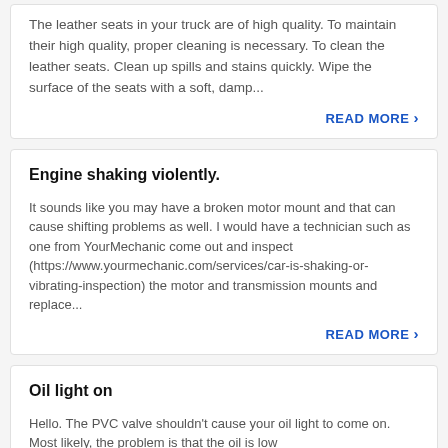The leather seats in your truck are of high quality. To maintain their high quality, proper cleaning is necessary. To clean the leather seats. Clean up spills and stains quickly. Wipe the surface of the seats with a soft, damp...
READ MORE ›
Engine shaking violently.
It sounds like you may have a broken motor mount and that can cause shifting problems as well. I would have a technician such as one from YourMechanic come out and inspect (https://www.yourmechanic.com/services/car-is-shaking-or-vibrating-inspection) the motor and transmission mounts and replace...
READ MORE ›
Oil light on
Hello. The PVC valve shouldn't cause your oil light to come on. Most likely, the problem is that the oil is low...